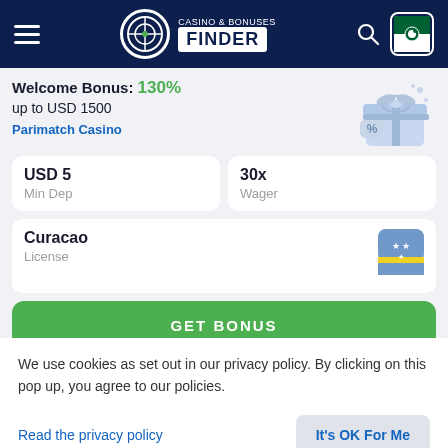CASINO & BONUSES FINDER
Welcome Bonus: 130%
up to USD 1500
Parimatch Casino
USD 5
Min Dep
30x
Wager
Curacao
License
GET BONUS
REVIEW
We use cookies as set out in our privacy policy. By clicking on this pop up, you agree to our policies.
Read the privacy policy
It's OK For Me